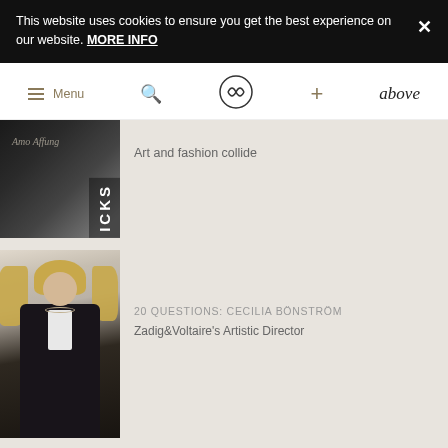This website uses cookies to ensure you get the best experience on our website. MORE INFO
Menu | Search | PP Logo | + | above
Art and fashion collide
[Figure (photo): Fashion editorial image with text ICKS overlaid]
[Figure (photo): Portrait of a blonde woman wearing a black leather jacket and white shirt]
20 QUESTIONS: CECILIA BÖNSTRÖM
Zadig&Voltaire's Artistic Director